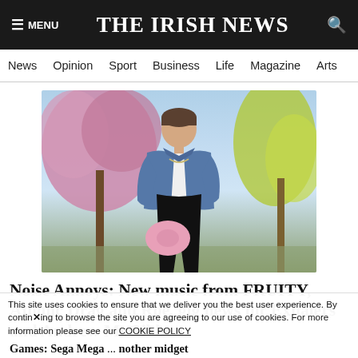≡ MENU  THE IRISH NEWS  🔍
News  Opinion  Sport  Business  Life  Magazine  Arts
[Figure (photo): Young man in denim jacket and white crop top holding a pink bag, standing outdoors with cherry blossom and yellow-green trees in background]
Noise Annoys: New music from FRUITY, Atomic Drag and Roe, gig news for Exhalers and Andrew McGibbon
This site uses cookies to ensure that we deliver you the best user experience. By continuing to browse the site you are agreeing to our use of cookies. For more information please see our COOKIE POLICY
Games: Sega Mega ... another midget